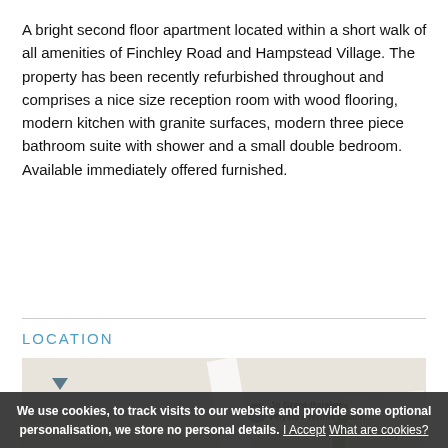A bright second floor apartment located within a short walk of all amenities of Finchley Road and Hampstead Village. The property has been recently refurbished throughout and comprises a nice size reception room with wood flooring, modern kitchen with granite surfaces, modern three piece bathroom suite with shower and a small double bedroom. Available immediately offered furnished.
LOCATION
[Figure (map): Google Maps view showing the area around Hampstead including UCS Active, Jo Grant-Baisley Physio/Tennis Coach, LSI London Hampstead, Lindfield Gardens, Arkwright Rd, Netherhall Gardens streets.]
We use cookies, to track visits to our website and provide some optional personalisation, we store no personal details. I Accept What are cookies?